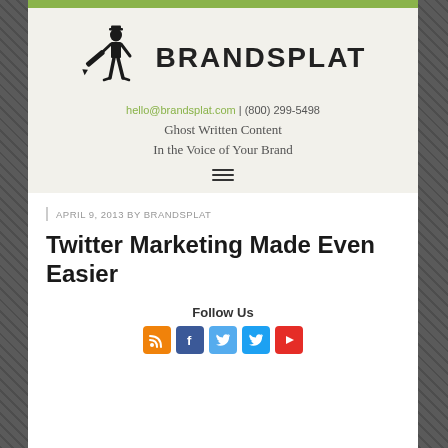[Figure (logo): BrandSplat logo: man in suit holding giant pen with company name BRANDSPLAT in bold uppercase]
hello@brandsplat.com | (800) 299-5498
Ghost Written Content
In the Voice of Your Brand
[Figure (other): Hamburger menu icon (three horizontal lines)]
APRIL 9, 2013 BY BRANDSPLAT
Twitter Marketing Made Even Easier
Follow Us
[Figure (other): Social media icons: RSS (orange), Facebook (blue), Twitter (light blue), Twitter (blue), YouTube (red)]